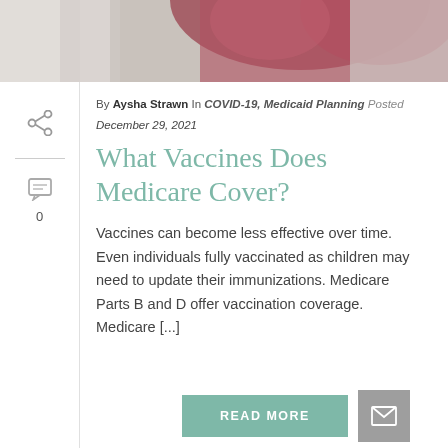[Figure (photo): Partial photo of a person in a red/maroon short-sleeve shirt, cropped at the top of the page]
By Aysha Strawn In COVID-19, Medicaid Planning Posted December 29, 2021
What Vaccines Does Medicare Cover?
Vaccines can become less effective over time. Even individuals fully vaccinated as children may need to update their immunizations. Medicare Parts B and D offer vaccination coverage. Medicare [...]
READ MORE